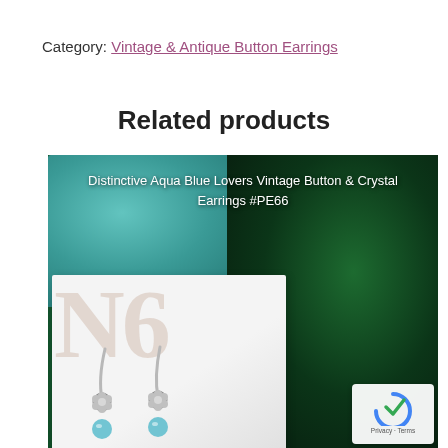Category: Vintage & Antique Button Earrings
Related products
[Figure (photo): Product photo of Distinctive Aqua Blue Lovers Vintage Button & Crystal Earrings #PE66, showing silver hook earrings with flower-shaped tops and aqua blue crystal drops, displayed on a white card against a dark green tropical leaf background.]
Distinctive Aqua Blue Lovers Vintage Button & Crystal Earrings #PE66